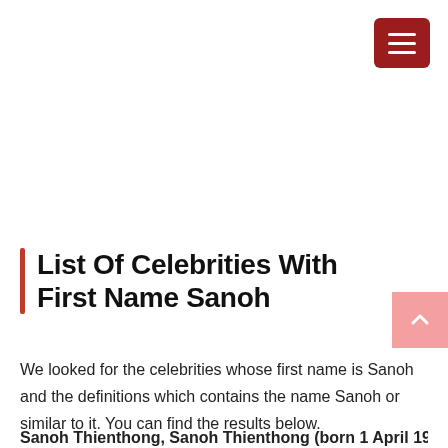[Figure (other): Hamburger menu button icon, dark red/maroon background with three white horizontal lines]
List Of Celebrities With First Name Sanoh
[Figure (other): Scroll-to-top button, pink background with upward-pointing caret]
We looked for the celebrities whose first name is Sanoh and the definitions which contains the name Sanoh or similar to it. You can find the results below.
Sanoh Thienthong, Sanoh Thienthong (born 1 April 1934)